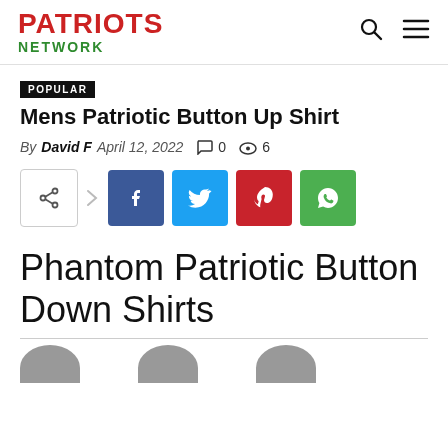PATRIOTS NETWORK
POPULAR
Mens Patriotic Button Up Shirt
By David F  April 12, 2022  0  6
[Figure (other): Social share buttons: generic share, Facebook, Twitter, Pinterest, WhatsApp]
Phantom Patriotic Button Down Shirts
[Figure (photo): Partial product images at bottom of page, showing tops of product photos]